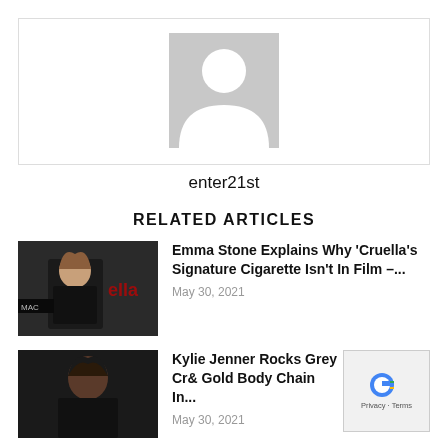[Figure (illustration): User avatar placeholder — grey rectangle with white silhouette person icon]
enter21st
RELATED ARTICLES
[Figure (photo): Photo of Emma Stone at a Cruella event, dark background with red Cruella branding]
Emma Stone Explains Why 'Cruella's Signature Cigarette Isn't In Film –...
May 30, 2021
[Figure (photo): Photo of Kylie Jenner, dark background]
Kylie Jenner Rocks Grey Cr­& Gold Body Chain In...
May 30, 2021